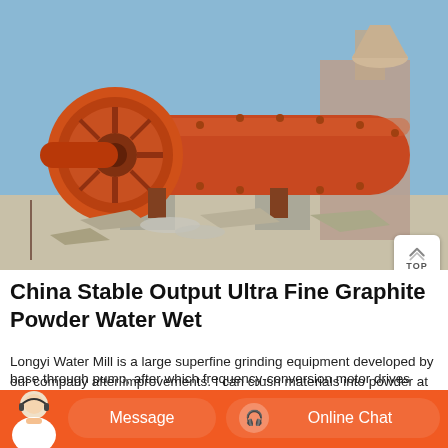[Figure (photo): Large orange industrial ball mill machine mounted on concrete base outdoors, with cylindrical drum and circular end plate visible. Industrial buildings in background under clear blue sky.]
China Stable Output Ultra Fine Graphite Powder Water Wet
Longyi Water Mill is a large superfine grinding equipment developed by our company after improvements. I can crush materials into powder at base through pump, after which frequency-conversion motor drives main
[Figure (infographic): Chat bar with customer service avatar, Message button, and Online Chat button with headset icon on orange background.]